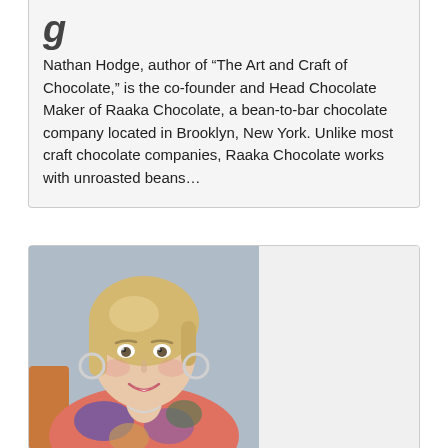Nathan Hodge, author of “The Art and Craft of Chocolate,” is the co-founder and Head Chocolate Maker of Raaka Chocolate, a bean-to-bar chocolate company located in Brooklyn, New York. Unlike most craft chocolate companies, Raaka Chocolate works with unroasted beans…
[Figure (photo): Portrait photo of a smiling middle-aged woman with blonde hair, wearing a colorful floral blouse and hoop earrings, seated in front of a neutral background.]